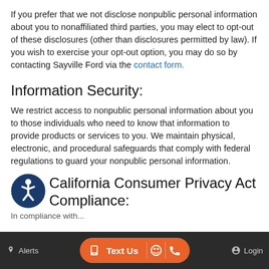If you prefer that we not disclose nonpublic personal information about you to nonaffiliated third parties, you may elect to opt-out of these disclosures (other than disclosures permitted by law). If you wish to exercise your opt-out option, you may do so by contacting Sayville Ford via the contact form.
Information Security:
We restrict access to nonpublic personal information about you to those individuals who need to know that information to provide products or services to you. We maintain physical, electronic, and procedural safeguards that comply with federal regulations to guard your nonpublic personal information.
California Consumer Privacy Act Compliance:
In compliance with...
[Figure (other): Accessibility icon button - circular dark blue button with wheelchair accessibility symbol]
Alerts   Text Us   Login